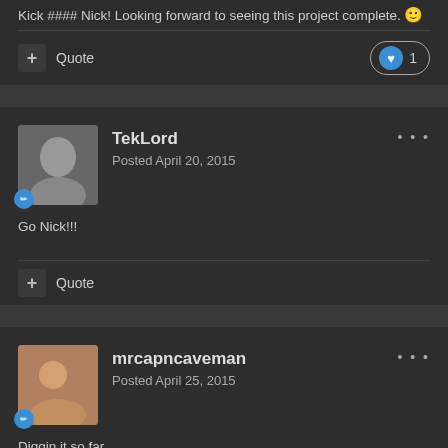Kick #### Nick!  Looking forward to seeing this project complete. 🙂
+ Quote   ❤ 1
TekLord
Posted April 20, 2015
Go Nick!!!
+ Quote
mrcapncaveman
Posted April 25, 2015
Diggin it so far.